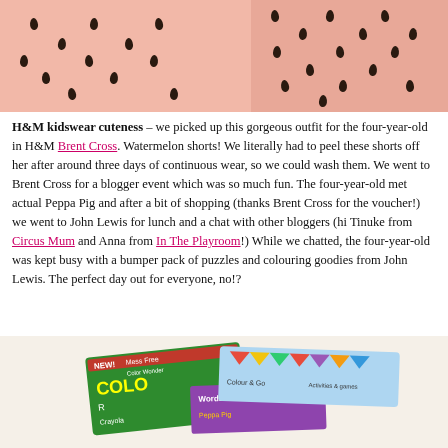[Figure (photo): Two pink watermelon-print children's shorts/tops side by side against a light background, showing dark teardrop/seed pattern on coral pink fabric]
H&M kidswear cuteness – we picked up this gorgeous outfit for the four-year-old in H&M Brent Cross. Watermelon shorts! We literally had to peel these shorts off her after around three days of continuous wear, so we could wash them. We went to Brent Cross for a blogger event which was so much fun. The four-year-old met actual Peppa Pig and after a bit of shopping (thanks Brent Cross for the voucher!) we went to John Lewis for lunch and a chat with other bloggers (hi Tinuke from Circus Mum and Anna from In The Playroom!) While we chatted, the four-year-old was kept busy with a bumper pack of puzzles and colouring goodies from John Lewis. The perfect day out for everyone, no!?
[Figure (photo): Photo of children's activity products including a Crayola Color Wonder Mess Free pad, a Peppa Pig Wordsearch Pad, and other activity books arranged on a light beige/cream surface]